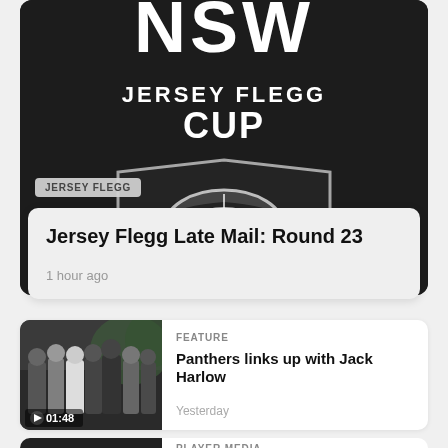[Figure (logo): NSW Jersey Flegg Cup logo on dark background - shield shape with rugby league ball graphic and text JERSEY FLEGG CUP]
JERSEY FLEGG
Jersey Flegg Late Mail: Round 23
1 hour ago
[Figure (photo): Group photo of people including Panthers players with Jack Harlow, video thumbnail with duration 01:48]
FEATURE
Panthers links up with Jack Harlow
Yesterday
[Figure (photo): Dark thumbnail image, partially visible at bottom]
PLAYER MEDIA